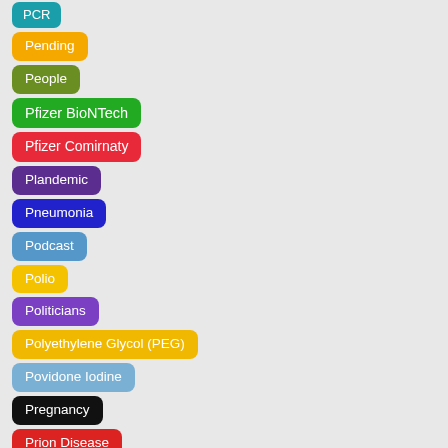PCR
Pending
People
Pfizer BioNTech
Pfizer Comirnaty
Plandemic
Pneumonia
Podcast
Polio
Politicians
Polyethylene Glycol (PEG)
Povidone Iodine
Pregnancy
Prion Disease
Problems
Prof Claus Schwab
Professor Dr. Christian Drosten
Professor Luc Montagnier